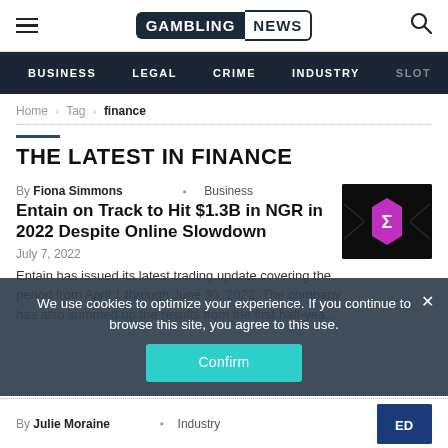GAMBLING NEWS — site header with navigation: BUSINESS | LEGAL | CRIME | INDUSTRY | SLOT
Home › Tag › finance
THE LATEST IN FINANCE
By Fiona Simmons · Business
Entain on Track to Hit $1.3B in NGR in 2022 Despite Online Slowdown
July 7, 2022
Entain has issued its latest trading update covering the period from April 1 through June 30, 2022. The company has also summed up the results from the first half-yea...
[Figure (logo): Dark square thumbnail with a purple hexagon containing a sigma (Σ) symbol, with decorative geometric lines]
We use cookies to optimize your experience. If you continue to browse this site, you agree to this use.
Confirm
By Julie Moraine · Industry